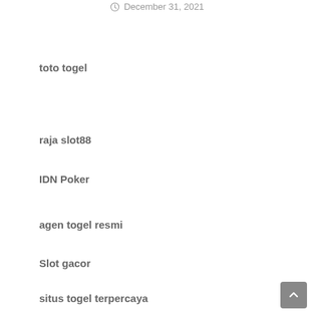December 31, 2021
toto togel
raja slot88
IDN Poker
agen togel resmi
Slot gacor
situs togel terpercaya